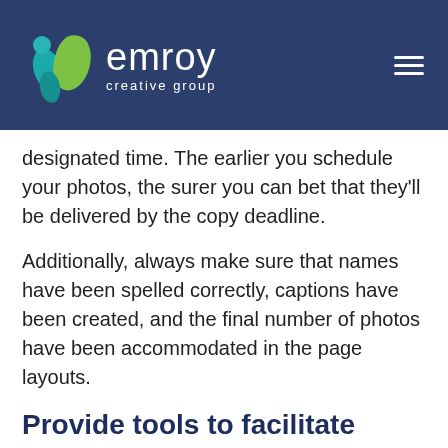[Figure (logo): Emroy Creative Group logo — teal and green leaf/droplet shapes with white text 'emroy' and 'creative group' on dark navy background with hamburger menu icon]
designated time. The earlier you schedule your photos, the surer you can bet that they'll be delivered by the copy deadline.
Additionally, always make sure that names have been spelled correctly, captions have been created, and the final number of photos have been accommodated in the page layouts.
Provide tools to facilitate content creation
Depending on the scope of your yearbook, it's likely that